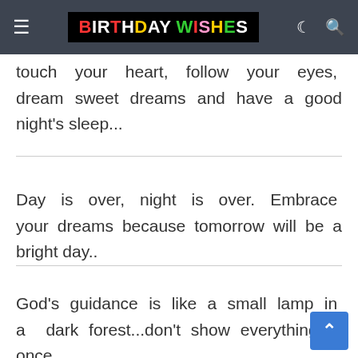BIRTHDAY WISHES (navigation header)
touch your heart, follow your eyes, dream sweet dreams and have a good night's sleep...
Day is over, night is over. Embrace your dreams because tomorrow will be a bright day..
God's guidance is like a small lamp in a dark forest...don't show everything at once...